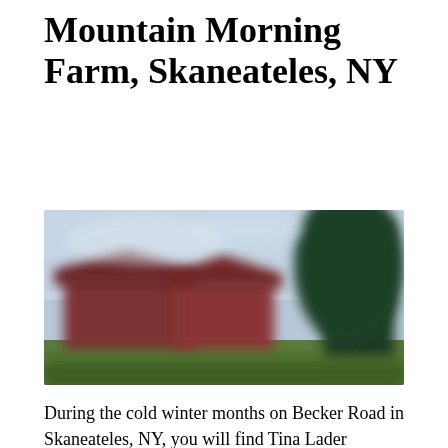Mountain Morning Farm, Skaneateles, NY
[Figure (photo): A blurred outdoor photograph of a farm with red barn buildings and a large dark green tree on the right, with a light blue sky in the background and green grass in the foreground.]
During the cold winter months on Becker Road in Skaneateles, NY, you will find Tina Lader pouring over her seed catalogs planning for the summer's crops. Tina is